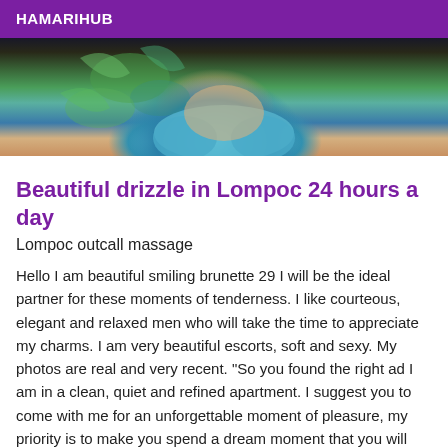HAMARIHUB
[Figure (photo): Cropped photo of a person in a colorful tropical-patterned top/bikini, photo taken from below showing midsection]
Beautiful drizzle in Lompoc 24 hours a day
Lompoc outcall massage
Hello I am beautiful smiling brunette 29 I will be the ideal partner for these moments of tenderness. I like courteous, elegant and relaxed men who will take the time to appreciate my charms. I am very beautiful escorts, soft and sexy. My photos are real and very recent. "So you found the right ad I am in a clean, quiet and refined apartment. I suggest you to come with me for an unforgettable moment of pleasure, my priority is to make you spend a dream moment that you will not forget". I am available for any information on the phone, (call or non-invasive SMS) I will answer you quickly (I